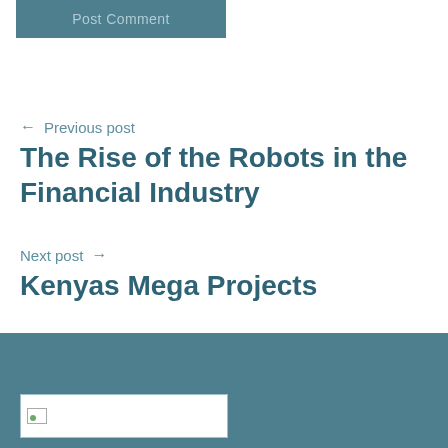Post Comment
← Previous post
The Rise of the Robots in the Financial Industry
Next post →
Kenyas Mega Projects
[Figure (other): Footer area with a broken/placeholder image thumbnail on a dark teal background]